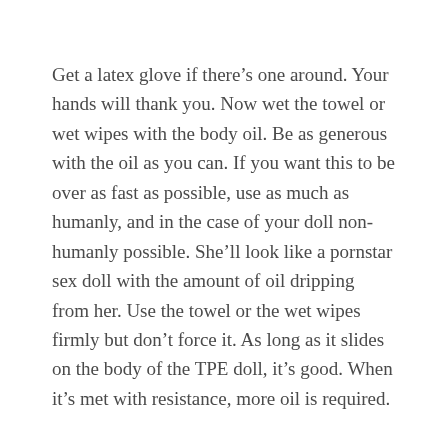Get a latex glove if there’s one around. Your hands will thank you. Now wet the towel or wet wipes with the body oil. Be as generous with the oil as you can. If you want this to be over as fast as possible, use as much as humanly, and in the case of your doll non-humanly possible. She’ll look like a pornstar sex doll with the amount of oil dripping from her. Use the towel or the wet wipes firmly but don’t force it. As long as it slides on the body of the TPE doll, it’s good. When it’s met with resistance, more oil is required.
Keep changing the angle of the towel and use the part that is still untouched. Your lifelike silicone like TPE girl will sweat out the dry skin or the